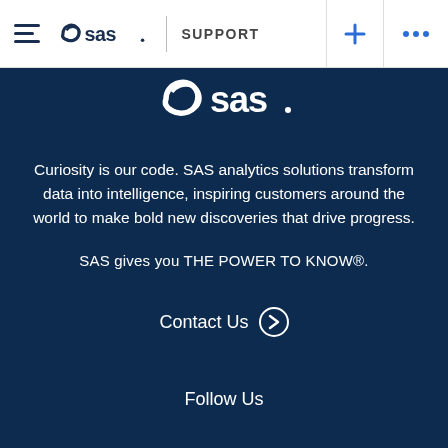SAS SUPPORT
[Figure (logo): SAS logo (large white version) centered on dark blue background]
Curiosity is our code. SAS analytics solutions transform data into intelligence, inspiring customers around the world to make bold new discoveries that drive progress.
SAS gives you THE POWER TO KNOW®.
Contact Us ❯
Follow Us